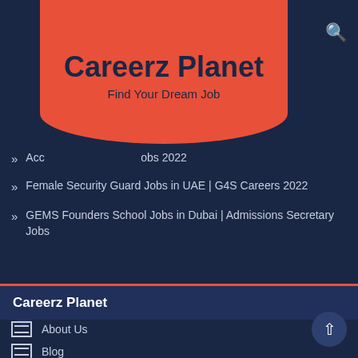Careerz Planet
Find Your Dream Job
Acc... ...obs 2022
Female Security Guard Jobs in UAE | G4S Careers 2022
GEMS Founders School Jobs in Dubai | Admissions Secretary Jobs
Careerz Planet
About Us
Blog
Contact Us
Disclaimer – Careerz Planet